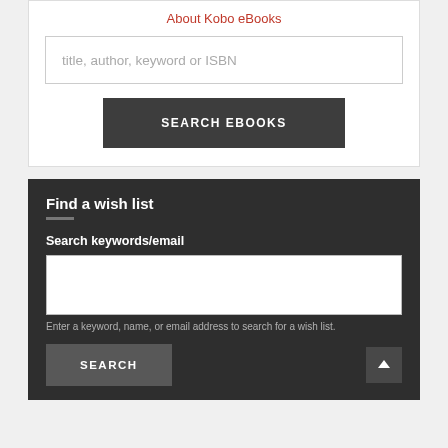About Kobo eBooks
title, author, keyword or ISBN
SEARCH EBOOKS
Find a wish list
Search keywords/email
Enter a keyword, name, or email address to search for a wish list.
SEARCH